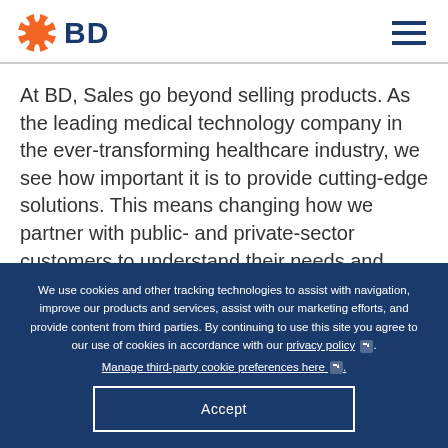BD
At BD, Sales go beyond selling products. As the leading medical technology company in the ever-transforming healthcare industry, we see how important it is to provide cutting-edge solutions. This means changing how we partner with public- and private-sector customers to understand their needs and improve patient lives. As part of this innovative team, you'll learn how medical
We use cookies and other tracking technologies to assist with navigation, improve our products and services, assist with our marketing efforts, and provide content from third parties. By continuing to use this site you agree to our use of cookies in accordance with our privacy policy. Manage third-party cookie preferences here.
Accept